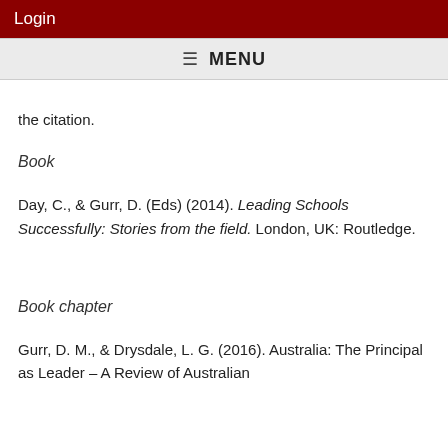Login
☰ MENU
the citation.
Book
Day, C., & Gurr, D. (Eds) (2014). Leading Schools Successfully: Stories from the field. London, UK: Routledge.
Book chapter
Gurr, D. M., & Drysdale, L. G. (2016). Australia: The Principal as Leader – A Review of Australian